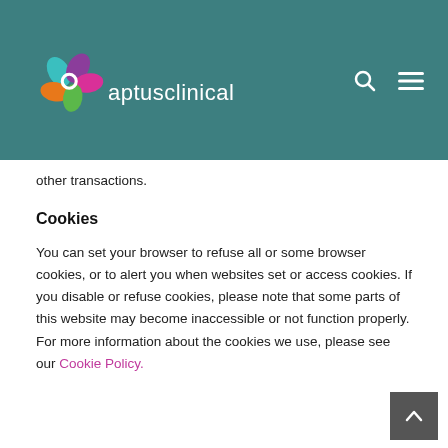[Figure (logo): Aptus Clinical logo: colorful petal/leaf shapes in teal, purple, pink, orange, green with a white ring in center, followed by white text 'aptusclinical' on teal background. Search and hamburger menu icons at top right.]
other transactions.
Cookies
You can set your browser to refuse all or some browser cookies, or to alert you when websites set or access cookies. If you disable or refuse cookies, please note that some parts of this website may become inaccessible or not function properly. For more information about the cookies we use, please see our Cookie Policy.